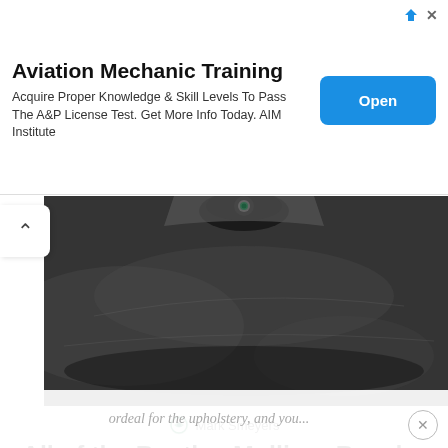[Figure (infographic): Advertisement banner: Aviation Mechanic Training with Open button]
Aviation Mechanic Training
Acquire Proper Knowledge & Skill Levels To Pass The A&P License Test. Get More Info Today. AIM Institute
[Figure (photo): Close-up photo of a Bentley car wheel/hood on dark asphalt, partially visible from top]
Mark Smeyers
All of the Bentley Mulliner Bacalar have been built
When you get ready to buy a Bentley you might be getting a little impressed by the extensive options list, not just selecting an exterior shade from the almost endless list might take a while, after which you'll have to go through the same
ordeal for the upholstery, and you...